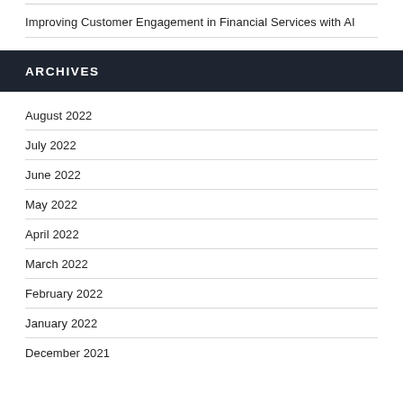Improving Customer Engagement in Financial Services with AI
ARCHIVES
August 2022
July 2022
June 2022
May 2022
April 2022
March 2022
February 2022
January 2022
December 2021